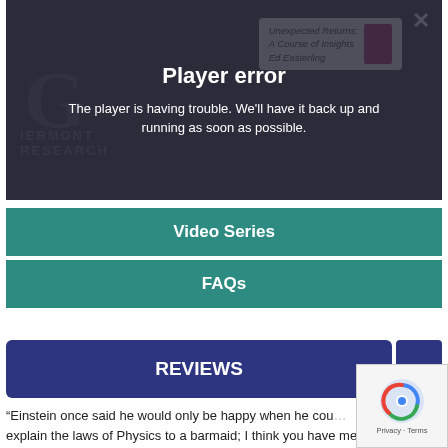[Figure (screenshot): Video player showing an error overlay. Background shows a blurred image with a large G letter and the text 'RESEARCH'. A book card in the top right shows 'Unexpected Returns: A Course of Insights, Ed Easterling'. The overlay displays a 'Player error' title and the message 'The player is having trouble. We'll have it back up and running as soon as possible.']
Player error
The player is having trouble. We'll have it back up and running as soon as possible.
Video Series
FAQs
REVIEWS
“Einstein once said he would only be happy when he could explain the laws of Physics to a barmaid; I think you have met